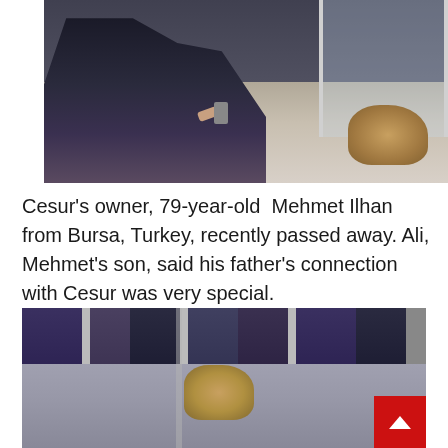[Figure (photo): A person crouching down and reaching toward a small golden-brown dog near glass doors. The scene appears to be outside a building entrance on tiled flooring.]
Cesur's owner, 79-year-old Mehmet Ilhan from Bursa, Turkey, recently passed away. Ali, Mehmet's son, said his father's connection with Cesur was very special.
[Figure (photo): A small golden-brown dog standing among a crowd of people's feet and legs on cobblestone pavement. A metal barrier or fence post is visible.]